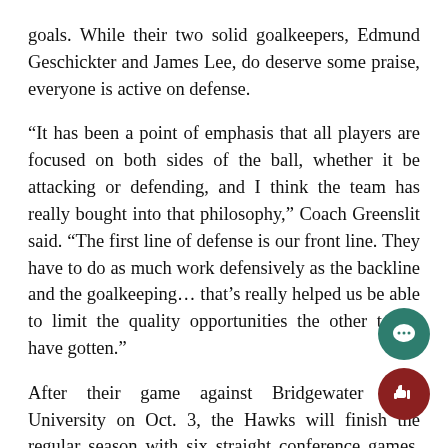goals. While their two solid goalkeepers, Edmund Geschickter and James Lee, do deserve some praise, everyone is active on defense.
“It has been a point of emphasis that all players are focused on both sides of the ball, whether it be attacking or defending, and I think the team has really bought into that philosophy,” Coach Greenslit said. “The first line of defense is our front line. They have to do as much work defensively as the backline and the goalkeeping… that’s really helped us be able to limit the quality opportunities the other teams have gotten.”
After their game against Bridgewater State University on Oct. 3, the Hawks will finish the regular season with six straight conference games, half of which will be played on their